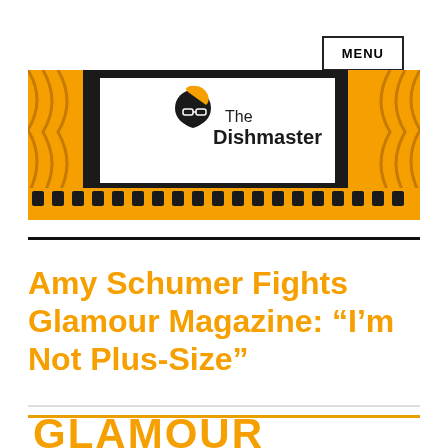MENU
[Figure (logo): The Dishmaster logo — movie theater stage with orange curtains, seats, film strip, and a silhouette of a woman with glasses alongside the text 'The Dishmaster']
Amy Schumer Fights Glamour Magazine: “I’m Not Plus-Size”
[Figure (logo): Partially visible Glamour magazine logo in orange letters at bottom of page]